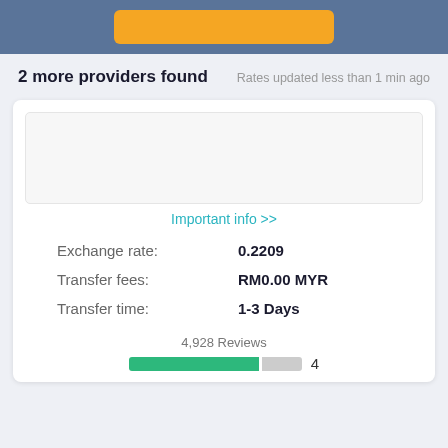[Figure (screenshot): Top banner with orange button on blue-gray background]
2 more providers found
Rates updated less than 1 min ago
[Figure (screenshot): White card with logo placeholder box]
Important info >>
| Exchange rate: | 0.2209 |
| Transfer fees: | RM0.00 MYR |
| Transfer time: | 1-3 Days |
4,928 Reviews
[Figure (bar-chart): Partial rating bar with green and gray segments, rating number 4]